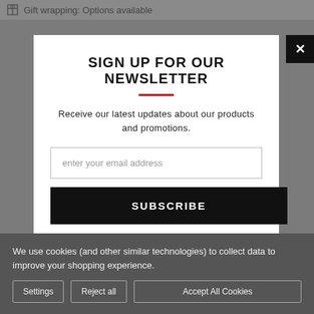Gift wrapping: Options available
SIGN UP FOR OUR NEWSLETTER
Receive our latest updates about our products and promotions.
enter your email address
SUBSCRIBE
[Figure (infographic): Social media icons: Facebook, Instagram, Pinterest]
We use cookies (and other similar technologies) to collect data to improve your shopping experience.
Settings
Reject all
Accept All Cookies